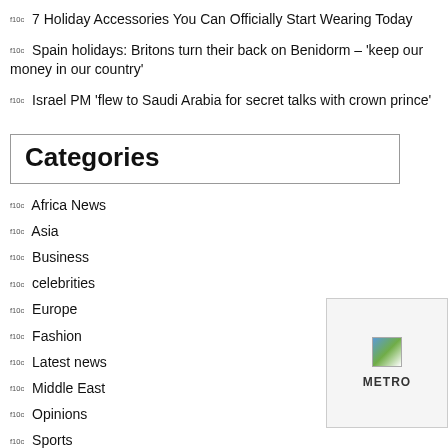f10c  7 Holiday Accessories You Can Officially Start Wearing Today
f10c  Spain holidays: Britons turn their back on Benidorm – 'keep our money in our country'
f10c  Israel PM 'flew to Saudi Arabia for secret talks with crown prince'
Categories
f10c  Africa News
f10c  Asia
f10c  Business
f10c  celebrities
f10c  Europe
f10c  Fashion
f10c  Latest news
f10c  Middle East
f10c  Opinions
f10c  Sports
[Figure (logo): METRO logo with small image icon]